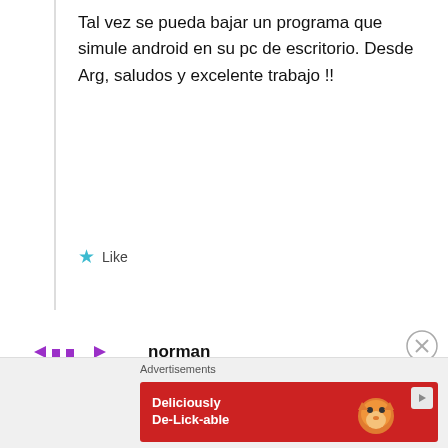Tal vez se pueda bajar un programa que simule android en su pc de escritorio. Desde Arg, saludos y excelente trabajo !!
Like
norman
September 2, 2014 at 6:40 pm
Hi, what about wooden houses? ( i live in norway )
Liked by 1 person
Advertisements
[Figure (illustration): Red advertisement banner with orange cat and text 'Deliciously De-Lick-able']